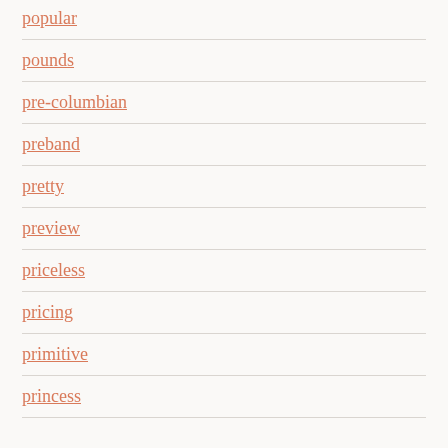popular
pounds
pre-columbian
preband
pretty
preview
priceless
pricing
primitive
princess